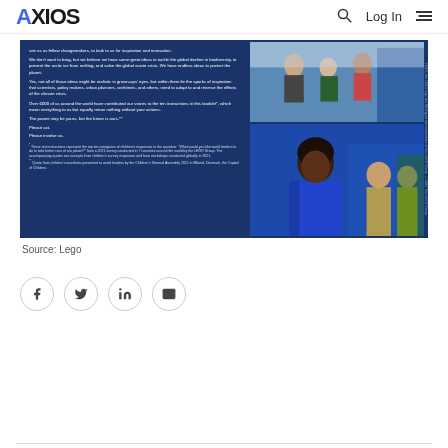AXIOS | Search | Log In | Menu
[Figure (photo): Lego report page showing children's manifesto text on blue background with photos of children on the right side. Text discusses climate change, biodiversity, and children's voices. Contains footnotes about survey methodology.]
Source: Lego
[Figure (infographic): Social sharing icons row: Facebook, Twitter, LinkedIn, Email]